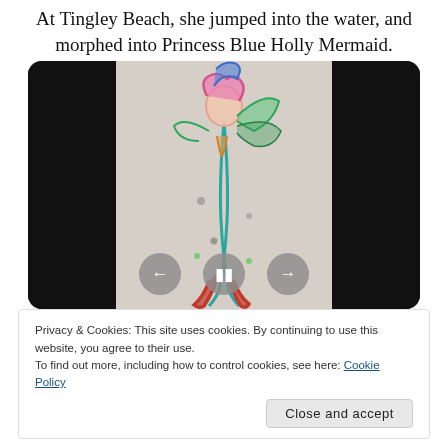At Tingley Beach, she jumped into the water, and morphed into Princess Blue Holly Mermaid.
[Figure (illustration): A colorful hand-drawn illustration of a mermaid figure (Princess Blue Holly Mermaid) displayed in a video player interface with black side bars and playback controls (back, pause, forward buttons) at the bottom.]
Privacy & Cookies: This site uses cookies. By continuing to use this website, you agree to their use.
To find out more, including how to control cookies, see here: Cookie Policy
would be at the Gulf of Mexico within minutes.